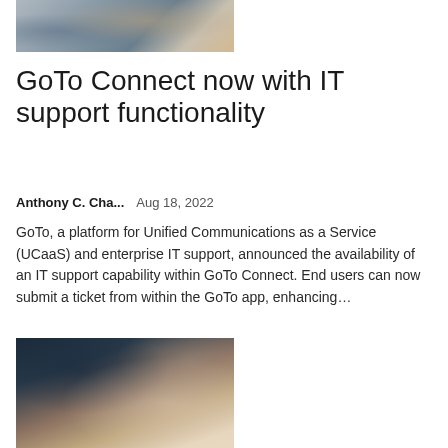[Figure (photo): Person typing on a laptop keyboard, partial view showing arms and desk]
GoTo Connect now with IT support functionality
Anthony C. Cha...    Aug 18, 2022
GoTo, a platform for Unified Communications as a Service (UCaaS) and enterprise IT support, announced the availability of an IT support capability within GoTo Connect. End users can now submit a ticket from within the GoTo app, enhancing...
[Figure (photo): Person writing on paper documents with charts visible, laptop or device in background]